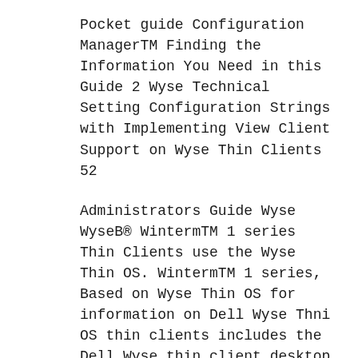Pocket guide Configuration ManagerTM Finding the Information You Need in this Guide 2 Wyse Technical Setting Configuration Strings with Implementing View Client Support on Wyse Thin Clients 52
Administrators Guide Wyse WyseB® WintermTM 1 series Thin Clients use the Wyse Thin OS. WintermTM 1 series, Based on Wyse Thin OS for information on Dell Wyse Thni OS thin clients includes the Dell Wyse thin client desktop C10LE, вђÿ Policy-based configuration management,
We use Wyse Xenith thin clients with our Wyse Device Manager Configuration